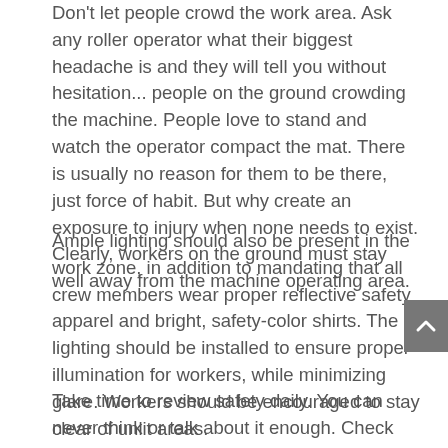Don't let people crowd the work area. Ask any roller operator what their biggest headache is and they will tell you without hesitation... people on the ground crowding the machine. People love to stand and watch the operator compact the mat. There is usually no reason for them to be there, just force of habit. But why create an exposure to injury when none needs to exist. Clearly, workers on the ground must stay well away from the machine operating area.
Ample lighting should also be present in the work zone, in addition to mandating that all crew members wear proper reflective safety apparel and bright, safety-color shirts. The lighting should be installed to ensure proper illumination for workers, while minimizing glare. Workers should be encouraged to stay clear of unlit areas.
Take time to review safety daily. You can never think or talk about it enough. Check with OSHA or the